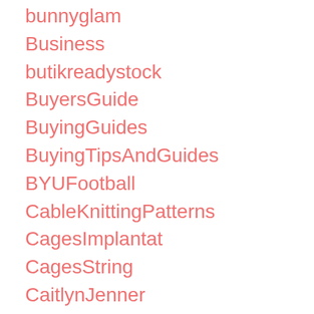bunnyglam
Business
butikreadystock
BuyersGuide
BuyingGuides
BuyingTipsAndGuides
BYUFootball
CableKnittingPatterns
CagesImplantat
CagesString
CaitlynJenner
Cake
California
Camping
CampingCabineF